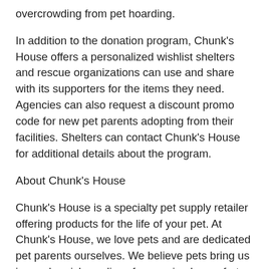overcrowding from pet hoarding.
In addition to the donation program, Chunk's House offers a personalized wishlist shelters and rescue organizations can use and share with its supporters for the items they need. Agencies can also request a discount promo code for new pet parents adopting from their facilities. Shelters can contact Chunk's House for additional details about the program.
About Chunk's House
Chunk's House is a specialty pet supply retailer offering products for the life of your pet. At Chunk's House, we love pets and are dedicated pet parents ourselves. We believe pets bring us joy and enrich our lives from a simple comfort